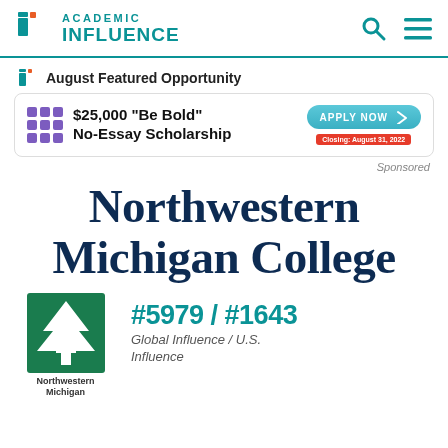[Figure (logo): Academic Influence logo with teal colored icon and text]
August Featured Opportunity
[Figure (infographic): Scholarship banner: $25,000 "Be Bold" No-Essay Scholarship with Apply Now button and Closing: August 31, 2022 tag]
Sponsored
Northwestern Michigan College
[Figure (logo): Northwestern Michigan College logo: green rectangle with white pine tree illustration]
Northwestern Michigan
#5979 / #1643
Global Influence / U.S. Influence